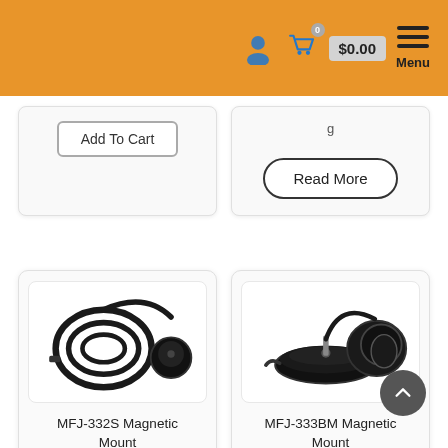Navigation header with user icon, cart (0 items, $0.00), and Menu
[Figure (screenshot): Partial product card on left with Add To Cart button]
[Figure (screenshot): Partial product card on right with Read More button]
[Figure (photo): MFJ-332S Magnetic Mount product photo showing coiled cable and round magnetic base]
MFJ-332S Magnetic Mount
[Figure (photo): MFJ-333BM Magnetic Mount product photo showing magnetic base with coiled cable]
MFJ-333BM Magnetic Mount